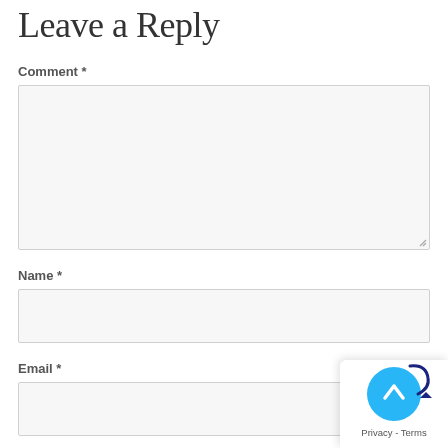Leave a Reply
Comment *
[Figure (screenshot): Comment textarea input field, empty, with resize handle at bottom right]
Name *
[Figure (screenshot): Name text input field, empty]
Email *
[Figure (screenshot): Email text input field, empty]
Website
[Figure (screenshot): Website text input field, partially visible at bottom]
[Figure (screenshot): Scroll-to-top button overlay with blue circular arrow button and Privacy - Terms text]